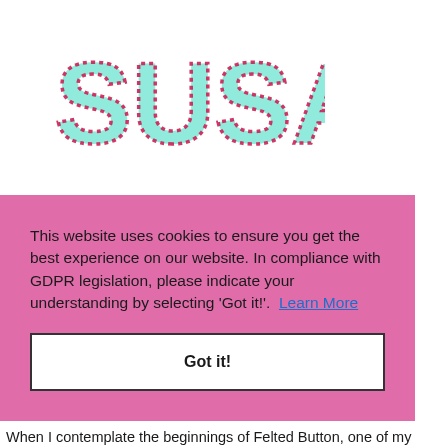[Figure (logo): Decorative text logo spelling 'SUSAN' composed of teal/mint letter shapes outlined with red dashed stitch-like marks, on white background]
This website uses cookies to ensure you get the best experience on our website. In compliance with GDPR legislation, please indicate your understanding by selecting 'Got it!'.  Learn More
Got it!
When I contemplate the beginnings of Felted Button, one of my